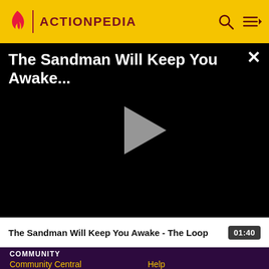ACTIONPEDIA
[Figure (screenshot): Video player showing 'The Sandman Will Keep You Awake...' with a play button on a black background and a close (X) button in the top right]
The Sandman Will Keep You Awake - The Loop   01:40
COMMUNITY
Community Central   Help